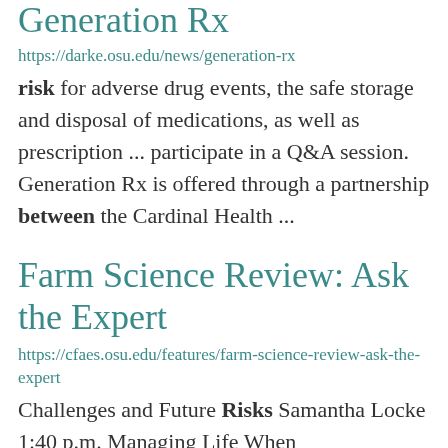Generation Rx
https://darke.osu.edu/news/generation-rx
risk for adverse drug events, the safe storage and disposal of medications, as well as prescription ... participate in a Q&A session.  Generation Rx is offered through a partnership between the Cardinal Health ...
Farm Science Review: Ask the Expert
https://cfaes.osu.edu/features/farm-science-review-ask-the-expert
Challenges and Future Risks Samantha Locke 1:40 p.m. Managing Life When